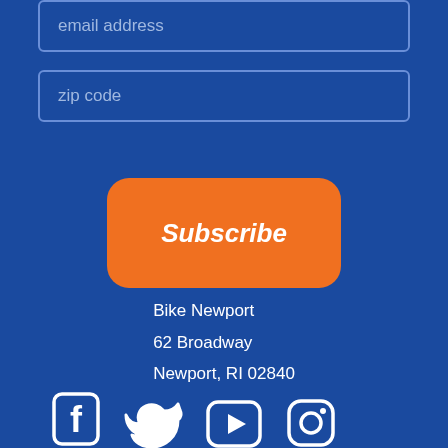email address
zip code
Subscribe
Bike Newport
62 Broadway
Newport, RI 02840
[Figure (illustration): Social media icons: Facebook, Twitter, YouTube, Instagram]